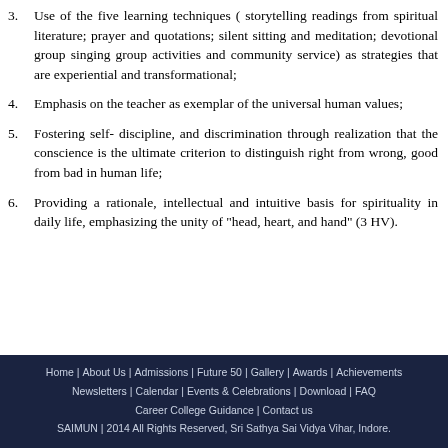3. Use of the five learning techniques ( storytelling readings from spiritual literature; prayer and quotations; silent sitting and meditation; devotional group singing group activities and community service) as strategies that are experiential and transformational;
4. Emphasis on the teacher as exemplar of the universal human values;
5. Fostering self- discipline, and discrimination through realization that the conscience is the ultimate criterion to distinguish right from wrong, good from bad in human life;
6. Providing a rationale, intellectual and intuitive basis for spirituality in daily life, emphasizing the unity of "head, heart, and hand" (3 HV).
Home | About Us | Admissions | Future 50 | Gallery | Awards | Achievements | Newsletters | Calendar | Events & Celebrations | Download | FAQ | Career College Guidance | Contact us | SAIMUN | 2014 All Rights Reserved, Sri Sathya Sai Vidya Vihar, Indore.